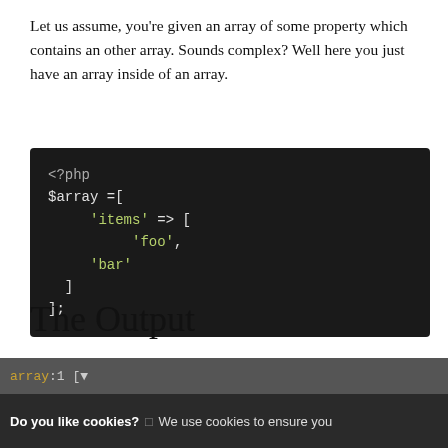Let us assume, you're given an array of some property which contains an other array. Sounds complex? Well here you just have an array inside of an array.
[Figure (screenshot): Dark-background PHP code block showing a nested array: $array =[ 'items' => [ 'foo', 'bar' ] ];]
The Output
On print_r the array, you might get the result something like
[Figure (screenshot): Cookie consent bar and code output bar at the bottom of the page showing 'Do you like cookies? We use cookies to ensure you' and 'array:1 [']